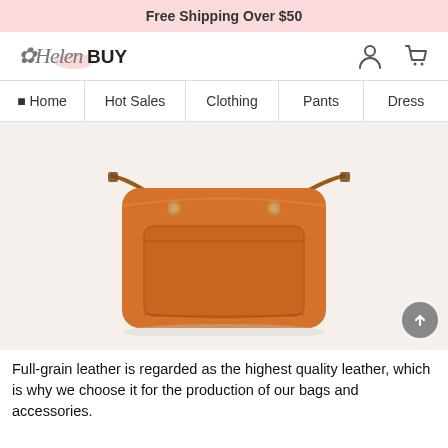Free Shipping Over $50
[Figure (logo): HelenBUY logo with script and bold text, pink accent]
🏠 Home
Hot Sales
Clothing
Pants
Dress
[Figure (photo): An orange full-grain leather crossbody bag with front pocket and metal studs, photographed on white background]
Full-grain leather is regarded as the highest quality leather, which is why we choose it for the production of our bags and accessories.